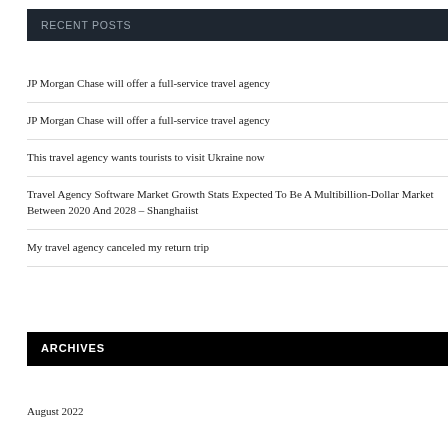RECENT POSTS
JP Morgan Chase will offer a full-service travel agency
JP Morgan Chase will offer a full-service travel agency
This travel agency wants tourists to visit Ukraine now
Travel Agency Software Market Growth Stats Expected To Be A Multibillion-Dollar Market Between 2020 And 2028 – Shanghaiist
My travel agency canceled my return trip
ARCHIVES
August 2022